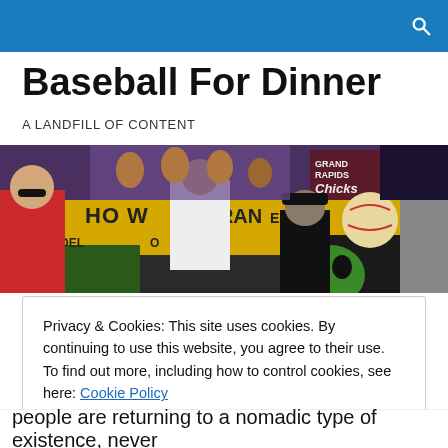Baseball For Dinner
A LANDFILL OF CONTENT
[Figure (photo): A colorful crowd scene with people in front of yellow restaurant signage, a baseball, and characters including someone in a red jersey, people in hats, and a green mascot character. Grand Rapids Chicks sign visible in background.]
Privacy & Cookies: This site uses cookies. By continuing to use this website, you agree to their use.
To find out more, including how to control cookies, see here: Cookie Policy

Close and accept
people are returning to a nomadic type of existence, never